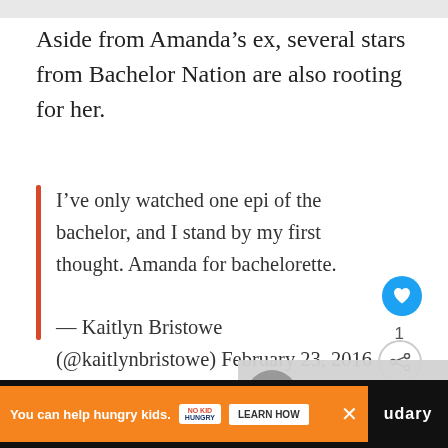Aside from Amanda’s ex, several stars from Bachelor Nation are also rooting for her.
I’ve only watched one epi of the bachelor, and I stand by my first thought. Amanda for bachelorette.
— Kaitlyn Bristowe (@kaitlynbristowe) February 23, 2016
#AmandaForBachelorette 💜
[Figure (screenshot): What's Next panel showing 'So You Think You Can...' with circular thumbnail]
[Figure (infographic): Advertisement bar: 'You can help hungry kids. No Kid Hungry. LEARN HOW' on orange background with close button]